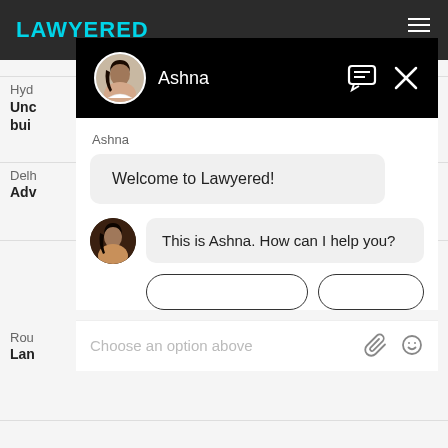[Figure (screenshot): Screenshot of the Lawyered website with a chat widget overlay. The chat widget shows an AI agent named Ashna with a welcome message 'Welcome to Lawyered!' and a follow-up message 'This is Ashna. How can I help you?' with an input field showing placeholder text 'Choose an option above' and attachment/emoji icons at the bottom.]
Ashna
Welcome to Lawyered!
This is Ashna. How can I help you?
Choose an option above